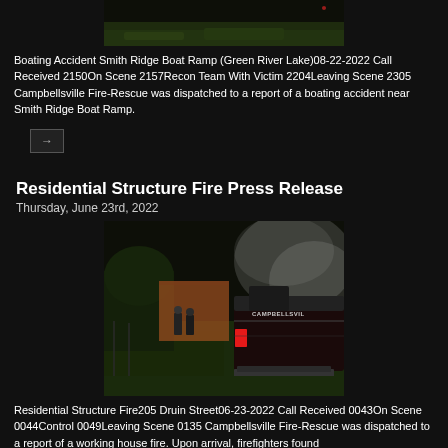[Figure (photo): Nighttime outdoor scene near water, partial view of green grass and dark sky]
Boating Accident Smith Ridge Boat Ramp (Green River Lake)08-22-2022 Call Received 2150On Scene 2157Recon Team With Victim 2204Leaving Scene 2305 Campbellsville Fire-Rescue was dispatched to a report of a boating accident near Smith Ridge Boat Ramp.
[Figure (other): Navigation arrow button]
Residential Structure Fire Press Release
Thursday, June 23rd, 2022
[Figure (photo): Nighttime photo of Campbellsville Fire-Rescue truck parked near a residential structure with firefighters in background and mist/smoke visible]
Residential Structure Fire205 Druin Street06-23-2022 Call Received 0043On Scene 0044Control 0049Leaving Scene 0135 Campbellsville Fire-Rescue was dispatched to a report of a working house fire. Upon arrival, firefighters found